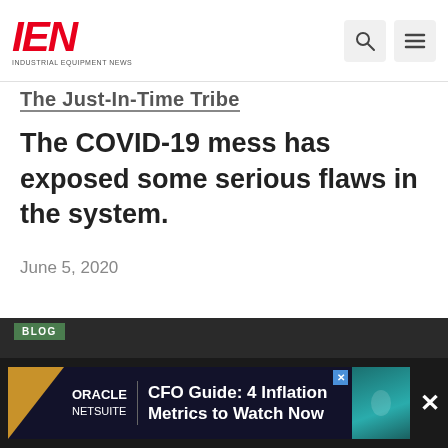IEN INDUSTRIAL EQUIPMENT NEWS
The Just-In-Time Tribe
The COVID-19 mess has exposed some serious flaws in the system.
June 5, 2020
[Figure (screenshot): Oracle NetSuite advertisement banner: CFO Guide: 4 Inflation Metrics to Watch Now]